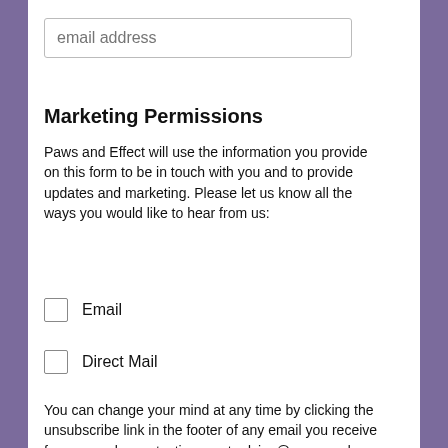email address
Marketing Permissions
Paws and Effect will use the information you provide on this form to be in touch with you and to provide updates and marketing. Please let us know all the ways you would like to hear from us:
Email
Direct Mail
You can change your mind at any time by clicking the unsubscribe link in the footer of any email you receive from us, or by contacting us at advice@paws-and-
We use cookies on our website to give you the most relevant experience by remembering your preferences and repeat visits. By clicking “Accept”, you consent to the use of ALL the cookies.
Cookie settings   ACCEPT
[Figure (other): Social media sharing bar with icons for Facebook, Twitter, Instagram, Pinterest, LinkedIn, Reddit, Tumblr, MW, and a share button]